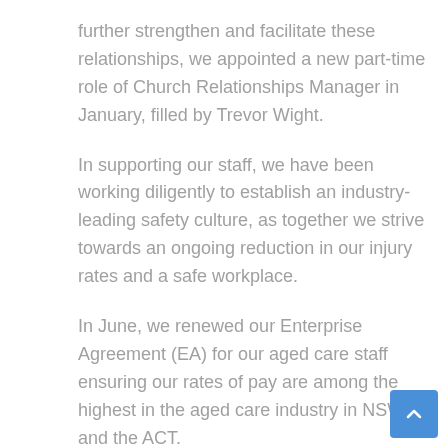further strengthen and facilitate these relationships, we appointed a new part-time role of Church Relationships Manager in January, filled by Trevor Wight.
In supporting our staff, we have been working diligently to establish an industry-leading safety culture, as together we strive towards an ongoing reduction in our injury rates and a safe workplace.
In June, we renewed our Enterprise Agreement (EA) for our aged care staff ensuring our rates of pay are among the highest in the aged care industry in NSW and the ACT.
During the year we also reviewed our leadership structure, to better prepare for and respond to areas of strategy and growth for BaptistCare. A new role of Chief